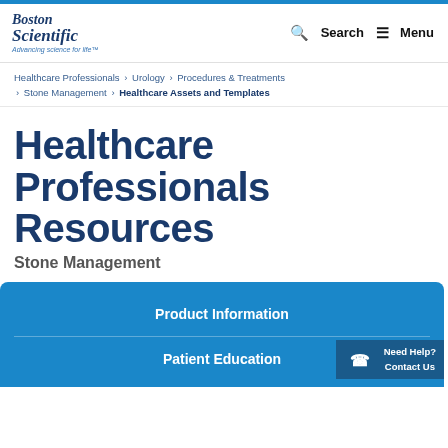Boston Scientific — Advancing science for life™ | Search | Menu
Healthcare Professionals > Urology > Procedures & Treatments > Stone Management > Healthcare Assets and Templates
Healthcare Professionals Resources
Stone Management
Product Information
Patient Education
Need Help? Contact Us